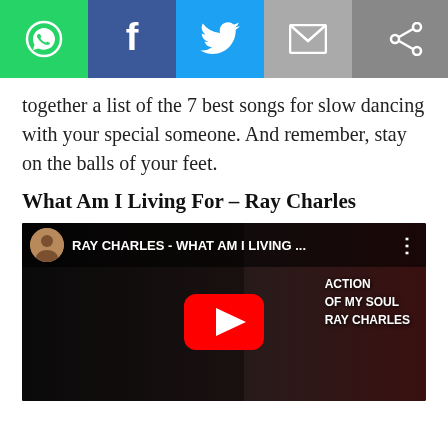[Figure (other): Social media sharing bar with WhatsApp, Facebook, Twitter, Email, and generic share buttons]
together a list of the 7 best songs for slow dancing with your special someone. And remember, stay on the balls of your feet.
What Am I Living For – Ray Charles
[Figure (screenshot): Embedded YouTube video thumbnail for RAY CHARLES - WHAT AM I LIVING ... showing Ray Charles in sunglasses with album text ACTION OF MY SOUL RAY CHARLES and a red YouTube play button]